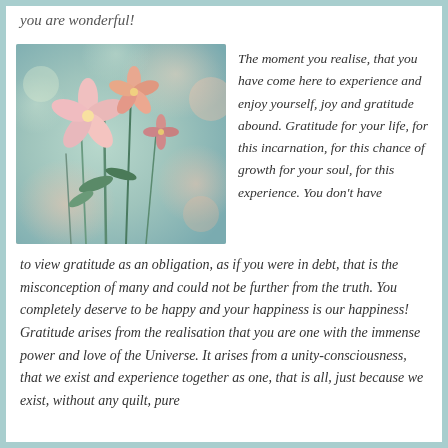you are wonderful!
[Figure (photo): Close-up photograph of delicate pink wildflowers with soft blurred colorful background in teal, green, and pink tones]
The moment you realise, that you have come here to experience and enjoy yourself, joy and gratitude abound. Gratitude for your life, for this incarnation, for this chance of growth for your soul, for this experience. You don't have to view gratitude as an obligation, as if you were in debt, that is the misconception of many and could not be further from the truth. You completely deserve to be happy and your happiness is our happiness! Gratitude arises from the realisation that you are one with the immense power and love of the Universe. It arises from a unity-consciousness, that we exist and experience together as one, that is all, just because we exist, without any quilt, pure